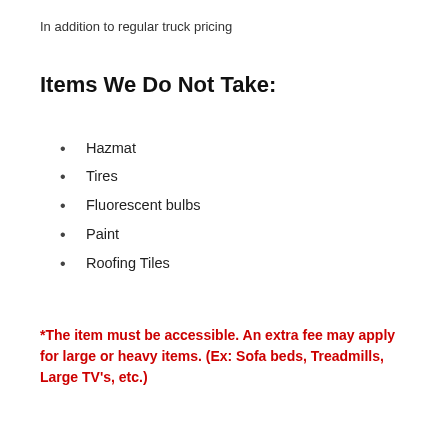In addition to regular truck pricing
Items We Do Not Take:
Hazmat
Tires
Fluorescent bulbs
Paint
Roofing Tiles
*The item must be accessible. An extra fee may apply for large or heavy items. (Ex: Sofa beds, Treadmills, Large TV's, etc.)